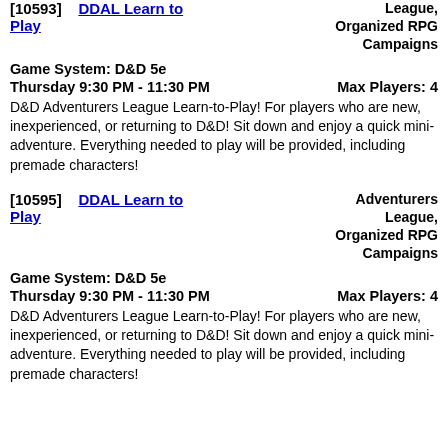[10593]   DDAL Learn to Play   League, Organized RPG Campaigns (partial/top)
Game System: D&D 5e
Thursday 9:30 PM - 11:30 PM    Max Players: 4
D&D Adventurers League Learn-to-Play! For players who are new, inexperienced, or returning to D&D! Sit down and enjoy a quick mini-adventure. Everything needed to play will be provided, including premade characters!
[10595]   DDAL Learn to Play   Adventurers League, Organized RPG Campaigns
Game System: D&D 5e
Thursday 9:30 PM - 11:30 PM    Max Players: 4
D&D Adventurers League Learn-to-Play! For players who are new, inexperienced, or returning to D&D! Sit down and enjoy a quick mini-adventure. Everything needed to play will be provided, including premade characters!